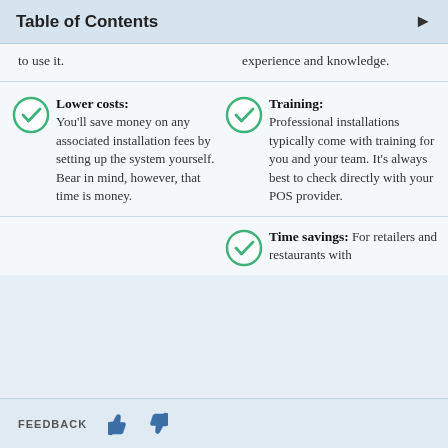Table of Contents
to use it.
experience and knowledge.
Lower costs: You'll save money on any associated installation fees by setting up the system yourself. Bear in mind, however, that time is money.
Training: Professional installations typically come with training for you and your team. It's always best to check directly with your POS provider.
Time savings: For retailers and restaurants with
FEEDBACK